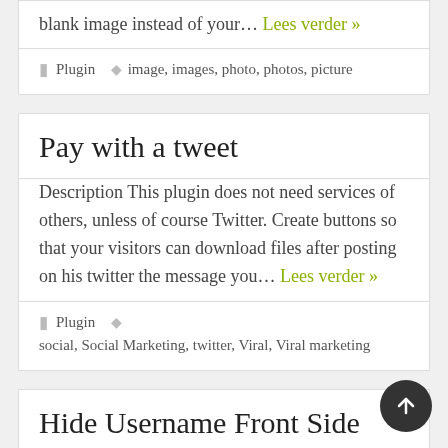blank image instead of your… Lees verder »
Plugin   image, images, photo, photos, picture
Pay with a tweet
Description This plugin does not need services of others, unless of course Twitter. Create buttons so that your visitors can download files after posting on his twitter the message you… Lees verder »
Plugin   social, Social Marketing, twitter, Viral, Viral marketing
Hide Username Front Side